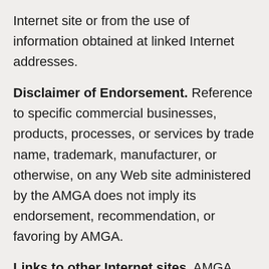Internet site or from the use of information obtained at linked Internet addresses.
Disclaimer of Endorsement. Reference to specific commercial businesses, products, processes, or services by trade name, trademark, manufacturer, or otherwise, on any Web site administered by the AMGA does not imply its endorsement, recommendation, or favoring by AMGA.
Links to other Internet sites. AMGA may provide links from its Web pages to external Web sites because these sites provide information that may interest our customers. These links are